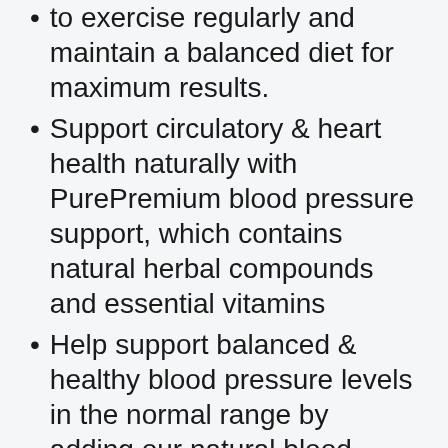to exercise regularly and maintain a balanced diet for maximum results.
Support circulatory & heart health naturally with PurePremium blood pressure support, which contains natural herbal compounds and essential vitamins
Help support balanced & healthy blood pressure levels in the normal range by adding our natural blood pressure supplement, which contains vitamin c, niacin, folic acid, garlic powder and green tea leaf in the formula.